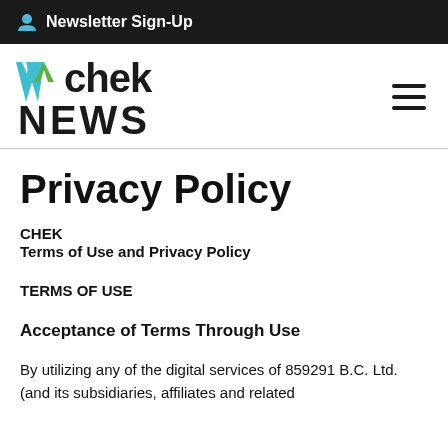Newsletter Sign-Up
[Figure (logo): CHEK NEWS logo with teal and green checkmark graphic]
Privacy Policy
CHEK
Terms of Use and Privacy Policy
TERMS OF USE
Acceptance of Terms Through Use
By utilizing any of the digital services of 859291 B.C. Ltd. (and its subsidiaries, affiliates and related